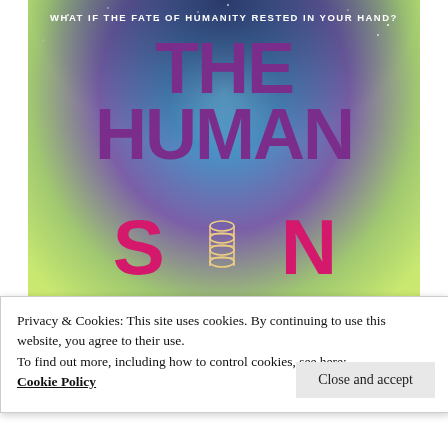[Figure (illustration): Book cover for 'The Human Son' with gradient background from deep blue/purple at top to green/yellow at bottom, with stars. Large bold purple text 'THE HUMAN SON' with a DNA double helix icon inside the letter O. Tagline at top: 'WHAT IF THE FATE OF HUMANITY RESTED IN YOUR HAND?']
Privacy & Cookies: This site uses cookies. By continuing to use this website, you agree to their use.
To find out more, including how to control cookies, see here: Cookie Policy
Close and accept